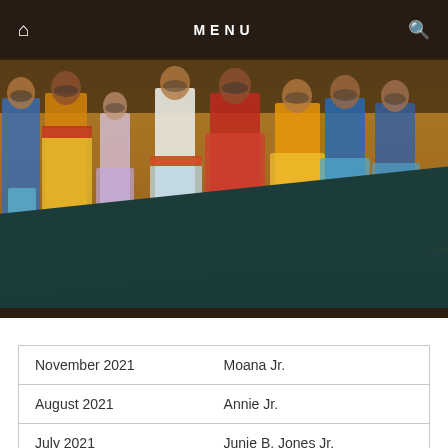MENU
[Figure (photo): Group of children in colorful costumes (tropical/Hawaiian-themed) wearing masks, standing on a stage. Associated with Moana Jr. theatrical production.]
| November 2021 | Moana Jr. |
| August 2021 | Annie Jr. |
| July 2021 | Junie B. Jones Jr. |
|  |  |